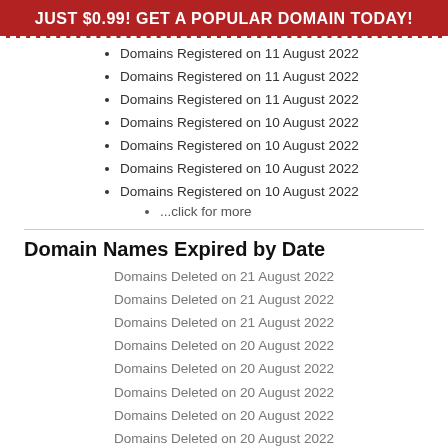JUST $0.99! GET A POPULAR DOMAIN TODAY!
Domains Registered on 11 August 2022
Domains Registered on 11 August 2022
Domains Registered on 11 August 2022
Domains Registered on 10 August 2022
Domains Registered on 10 August 2022
Domains Registered on 10 August 2022
Domains Registered on 10 August 2022
...click for more
Domain Names Expired by Date
Domains Deleted on 21 August 2022
Domains Deleted on 21 August 2022
Domains Deleted on 21 August 2022
Domains Deleted on 20 August 2022
Domains Deleted on 20 August 2022
Domains Deleted on 20 August 2022
Domains Deleted on 20 August 2022
Domains Deleted on 20 August 2022
Domains Deleted on 20 August 2022
Domains Deleted on 20 August 2022
Domains Deleted on 20 August 2022